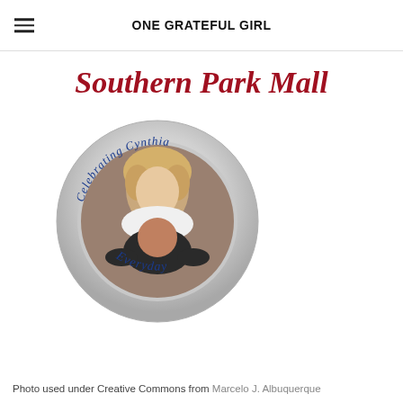ONE GRATEFUL GIRL
Southern Park Mall
[Figure (photo): A circular badge/button with a silver metallic border. Text curved along the top reads 'Celebrating Cynthia' in blue italic script and along the bottom reads 'Everyday' in blue italic script. Inside the circle is a photograph of two people - a woman with blonde hair on top and a person in a dark shirt in front.]
Photo used under Creative Commons from Marcelo J. Albuquerque